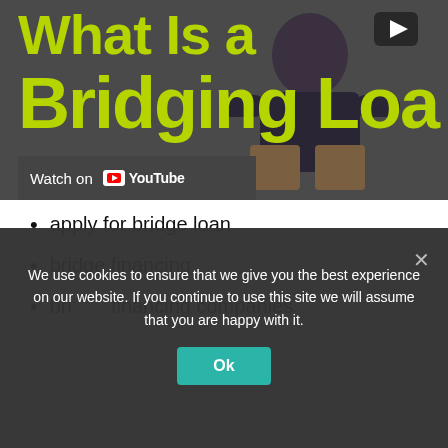[Figure (screenshot): Video thumbnail for a YouTube video about bridging loans, showing a person in a dark t-shirt with yellow-green text reading 'What is a Bridging Loa...' and a play button in the corner, with a 'Watch on YouTube' bar at the bottom left.]
apply for bridge loan
bridge financing
bridge financing companies
[Figure (other): Call-to-action button with green phone circle icon on the left and a yellow rounded button with dashed border reading 'GET your QUOTE now!']
We use cookies to ensure that we give you the best experience on our website. If you continue to use this site we will assume that you are happy with it.